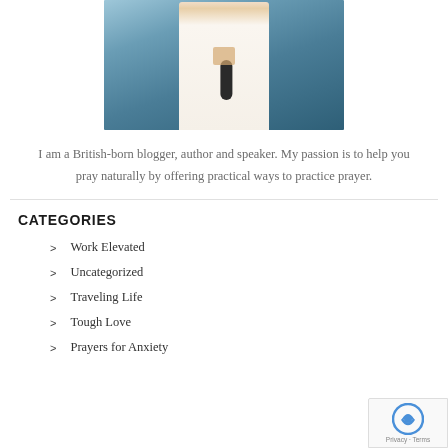[Figure (photo): Photo of a woman in a white dress holding a microphone, viewed from shoulders down, with a colorful blurred background]
I am a British-born blogger, author and speaker. My passion is to help you pray naturally by offering practical ways to practice prayer.
CATEGORIES
Work Elevated
Uncategorized
Traveling Life
Tough Love
Prayers for Anxiety